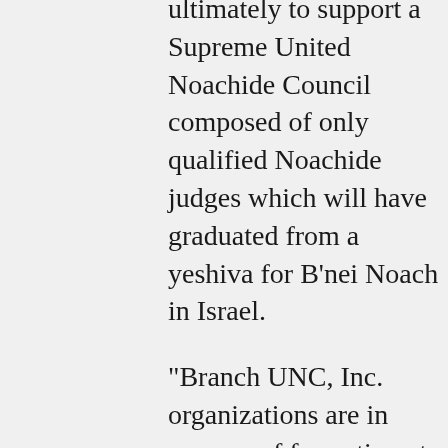ultimately to support a Supreme United Noachide Council composed of only qualified Noachide judges which will have graduated from a yeshiva for B'nei Noach in Israel.

“Branch UNC, Inc. organizations are in process of formation at various